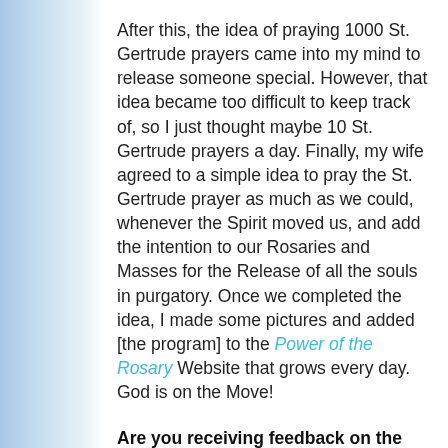After this, the idea of praying 1000 St. Gertrude prayers came into my mind to release someone special. However, that idea became too difficult to keep track of, so I just thought maybe 10 St. Gertrude prayers a day. Finally, my wife agreed to a simple idea to pray the St. Gertrude prayer as much as we could, whenever the Spirit moved us, and add the intention to our Rosaries and Masses for the Release of all the souls in purgatory. Once we completed the idea, I made some pictures and added [the program] to the Power of the Rosary Website that grows every day. God is on the Move!
Are you receiving feedback on the ways people are touched by your apostolate?